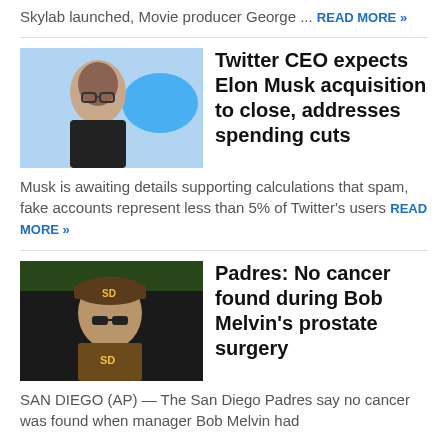Skylab launched, Movie producer George ... READ MORE »
[Figure (photo): Headshot of Twitter CEO Parag Agrawal in front of Twitter bird logo]
Twitter CEO expects Elon Musk acquisition to close, addresses spending cuts
Musk is awaiting details supporting calculations that spam, fake accounts represent less than 5% of Twitter's users READ MORE »
[Figure (photo): San Diego Padres manager Bob Melvin wearing team uniform and cap]
Padres: No cancer found during Bob Melvin's prostate surgery
SAN DIEGO (AP) — The San Diego Padres say no cancer was found when manager Bob Melvin had